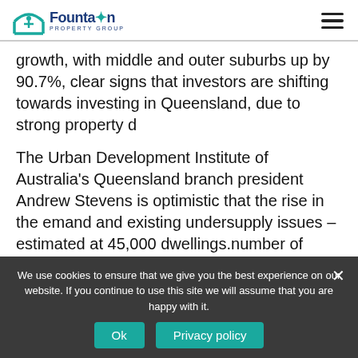Fountain Property Group
growth, with middle and outer suburbs up by 90.7%, clear signs that investors are shifting towards investing in Queensland, due to strong property d
The Urban Development Institute of Australia’s Queensland branch president Andrew Stevens is optimistic that the rise in the emand and existing undersupply issues – estimated at 45,000 dwellings.number of dwellings aligned with the growing population will provide more jobs and
We use cookies to ensure that we give you the best experience on our website. If you continue to use this site we will assume that you are happy with it.